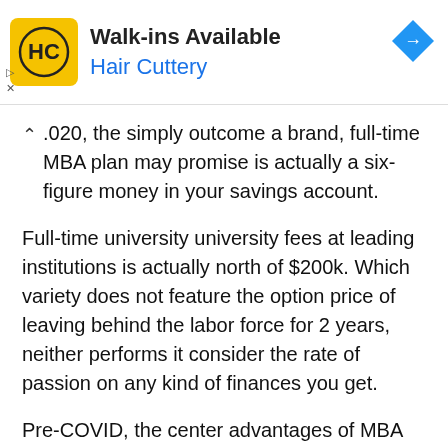[Figure (other): Hair Cuttery advertisement banner with logo, 'Walk-ins Available' text, and navigation arrow icon]
.020, the simply outcome a brand, full-time MBA plan may promise is actually a six-figure money in your savings account.
Full-time university university fees at leading institutions is actually north of $200k. Which variety does not feature the option price of leaving behind the labor force for 2 years, neither performs it consider the rate of passion on any kind of finances you get.
Pre-COVID, the center advantages of MBA plans were actually the on-campus profession fairs as well as on-site company gos to.